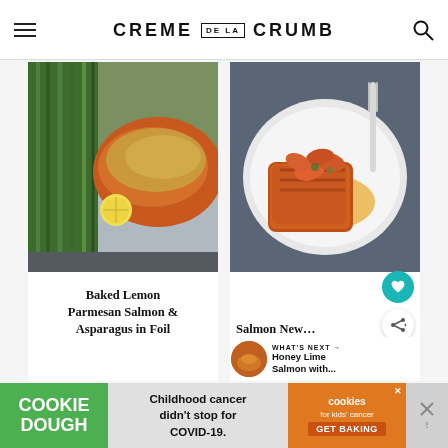CREME DE LA CRUMB
[Figure (photo): Baked salmon with lemon and asparagus on a baking sheet lined with foil]
[Figure (photo): Salmon fillet topped with shrimp in sauce on a white plate, with fork, teal heart button and share button overlaid]
Baked Lemon Parmesan Salmon & Asparagus in Foil
Salmon New…
[Figure (photo): What's Next thumbnail: Honey Lime Salmon with...]
WHAT'S NEXT → Honey Lime Salmon with...
[Figure (infographic): Cookie Dough advertisement banner: Childhood cancer didn't stop for COVID-19. GET BAKING for kids cancer cookies.]